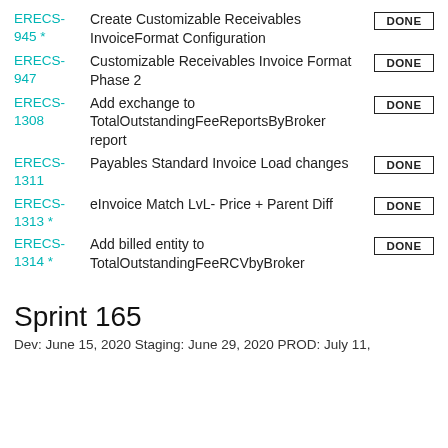ERECS-945 * Create Customizable Receivables InvoiceFormat Configuration DONE
ERECS-947 Customizable Receivables Invoice Format Phase 2 DONE
ERECS-1308 Add exchange to TotalOutstandingFeeReportsByBroker report DONE
ERECS-1311 Payables Standard Invoice Load changes DONE
ERECS-1313 * eInvoice Match LvL- Price + Parent Diff DONE
ERECS-1314 * Add billed entity to TotalOutstandingFeeRCVbyBroker DONE
Sprint 165
Dev: June 15, 2020 Staging: June 29, 2020 PROD: July 11,